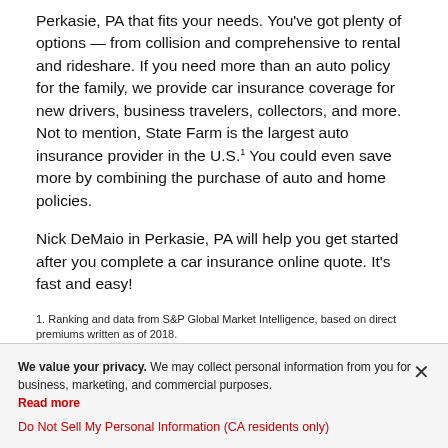Perkasie, PA that fits your needs. You've got plenty of options — from collision and comprehensive to rental and rideshare. If you need more than an auto policy for the family, we provide car insurance coverage for new drivers, business travelers, collectors, and more. Not to mention, State Farm is the largest auto insurance provider in the U.S.¹ You could even save more by combining the purchase of auto and home policies.
Nick DeMaio in Perkasie, PA will help you get started after you complete a car insurance online quote. It's fast and easy!
1. Ranking and data from S&P Global Market Intelligence, based on direct premiums written as of 2018.
We value your privacy. We may collect personal information from you for business, marketing, and commercial purposes. Read more
Do Not Sell My Personal Information (CA residents only)